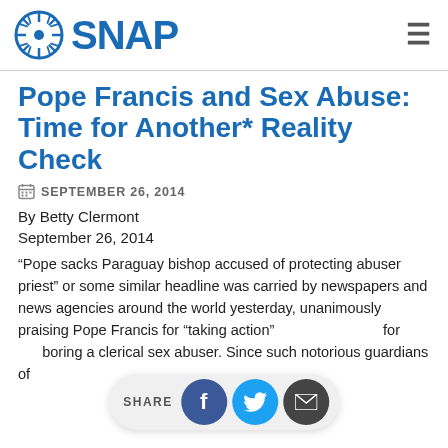SNAP
Pope Francis and Sex Abuse: Time for Another* Reality Check
SEPTEMBER 26, 2014
By Betty Clermont
September 26, 2014
“Pope sacks Paraguay bishop accused of protecting abuser priest” or some similar headline was carried by newspapers and news agencies around the world yesterday, unanimously praising Pope Francis for “taking action” against a prelate for harboring a clerical sex abuser. Since such notorious guardians of